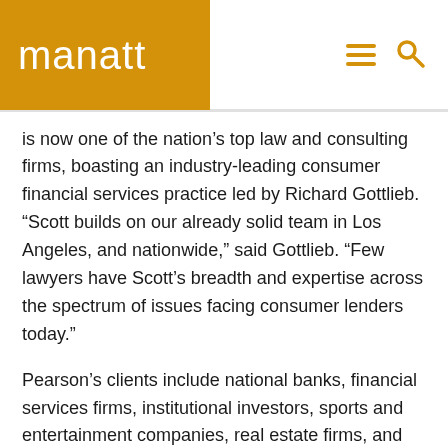manatt
is now one of the nation’s top law and consulting firms, boasting an industry-leading consumer financial services practice led by Richard Gottlieb. “Scott builds on our already solid team in Los Angeles, and nationwide,” said Gottlieb. “Few lawyers have Scott’s breadth and expertise across the spectrum of issues facing consumer lenders today.”
Pearson’s clients include national banks, financial services firms, institutional investors, sports and entertainment companies, real estate firms, and prominent retail and consumer product companies. A preeminent authority in the rapidly evolving